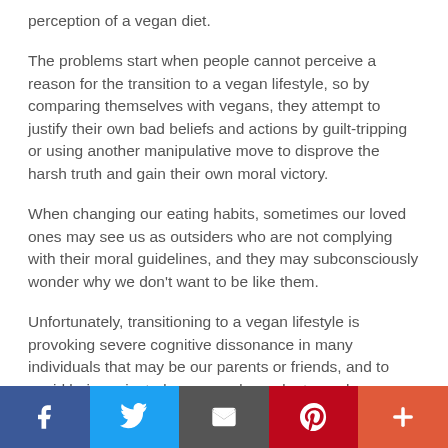perception of a vegan diet.
The problems start when people cannot perceive a reason for the transition to a vegan lifestyle, so by comparing themselves with vegans, they attempt to justify their own bad beliefs and actions by guilt-tripping or using another manipulative move to disprove the harsh truth and gain their own moral victory.
When changing our eating habits, sometimes our loved ones may see us as outsiders who are not complying with their moral guidelines, and they may subconsciously wonder why we don't want to be like them.
Unfortunately, transitioning to a vegan lifestyle is provoking severe cognitive dissonance in many individuals that may be our parents or friends, and to avoid being rejected, some codependent people may find
Social share bar: Facebook, Twitter, Email, Pinterest, More